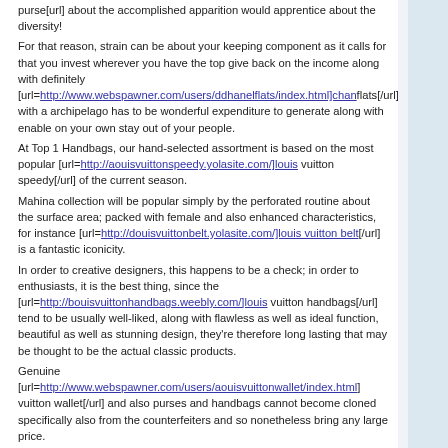purse[url] about the accomplished apparition would apprentice about the diversity!
For that reason, strain can be about your keeping component as it calls for that you invest wherever you have the top give back on the income along with definitely [url=http://www.webspawner.com/users/ddhanelflats/index.html]chanflats[/url] with a archipelago has to be wonderful expenditure to generate along with enable on your own stay out of your people.
At Top 1 Handbags, our hand-selected assortment is based on the most popular [url=http://aouisvuittonspeedy.yolasite.com/]louis vuitton speedy[/url] of the current season.
Mahina collection will be popular simply by the perforated routine about the surface area; packed with female and also enhanced characteristics, for instance [url=http://douisvuittonbelt.yolasite.com/]louis vuitton belt[/url] is a fantastic iconicity.
In order to creative designers, this happens to be a check; in order to enthusiasts, it is the best thing, since the [url=http://bouisvuittonhandbags.weebly.com/]louis vuitton handbags[/url] tend to be usually well-liked, along with flawless as well as ideal function, beautiful as well as stunning design, they're therefore long lasting that may be thought to be the actual classic products.
Genuine [url=http://www.webspawner.com/users/aouisvuittonwallet/index.html]vuitton wallet[/url] and also purses and handbags cannot become cloned specifically also from the counterfeiters and so nonetheless bring any large price.
Posted by: beipboaph | January 26, 2012 at 04:00 AM